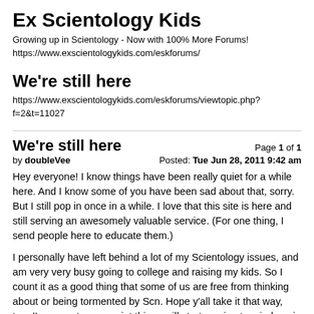Ex Scientology Kids
Growing up in Scientology - Now with 100% More Forums!
https://www.exscientologykids.com/eskforums/
We're still here
https://www.exscientologykids.com/eskforums/viewtopic.php?f=2&t=11027
We're still here
Page 1 of 1
by doubleVee
Posted: Tue Jun 28, 2011 9:42 am
Hey everyone! I know things have been really quiet for a while here. And I know some of you have been sad about that, sorry. But I still pop in once in a while. I love that this site is here and still serving an awesomely valuable service. (For one thing, I send people here to educate them.)

I personally have left behind a lot of my Scientology issues, and am very very busy going to college and raising my kids. So I count it as a good thing that some of us are free from thinking about or being tormented by Scn. Hope y'all take it that way, too. I'm sure at some point things will start coming to mind again and there'll be a bit more from me, at least.

Be well. ☺[/h]